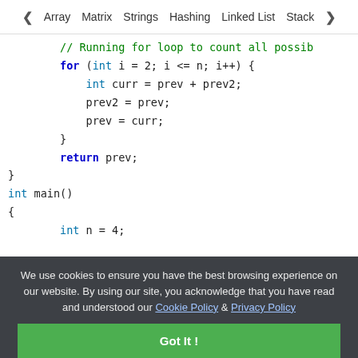◀ Array   Matrix   Strings   Hashing   Linked List   Stack ▶
// Running for loop to count all possib
for (int i = 2; i <= n; i++) {
    int curr = prev + prev2;
    prev2 = prev;
    prev = curr;
}
return prev;
}
int main()
{
    int n = 4;

    cout << "Number of Ways : " << countWay

    return 0;
We use cookies to ensure you have the best browsing experience on our website. By using our site, you acknowledge that you have read and understood our Cookie Policy & Privacy Policy
Got It !